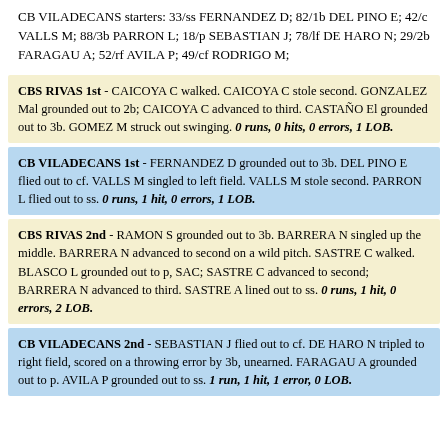CB VILADECANS starters: 33/ss FERNANDEZ D; 82/1b DEL PINO E; 42/c VALLS M; 88/3b PARRON L; 18/p SEBASTIAN J; 78/lf DE HARO N; 29/2b FARAGAU A; 52/rf AVILA P; 49/cf RODRIGO M;
CBS RIVAS 1st - CAICOYA C walked. CAICOYA C stole second. GONZALEZ Mal grounded out to 2b; CAICOYA C advanced to third. CASTAÑO El grounded out to 3b. GOMEZ M struck out swinging. 0 runs, 0 hits, 0 errors, 1 LOB.
CB VILADECANS 1st - FERNANDEZ D grounded out to 3b. DEL PINO E flied out to cf. VALLS M singled to left field. VALLS M stole second. PARRON L flied out to ss. 0 runs, 1 hit, 0 errors, 1 LOB.
CBS RIVAS 2nd - RAMON S grounded out to 3b. BARRERA N singled up the middle. BARRERA N advanced to second on a wild pitch. SASTRE C walked. BLASCO L grounded out to p, SAC; SASTRE C advanced to second; BARRERA N advanced to third. SASTRE A lined out to ss. 0 runs, 1 hit, 0 errors, 2 LOB.
CB VILADECANS 2nd - SEBASTIAN J flied out to cf. DE HARO N tripled to right field, scored on a throwing error by 3b, unearned. FARAGAU A grounded out to p. AVILA P grounded out to ss. 1 run, 1 hit, 1 error, 0 LOB.